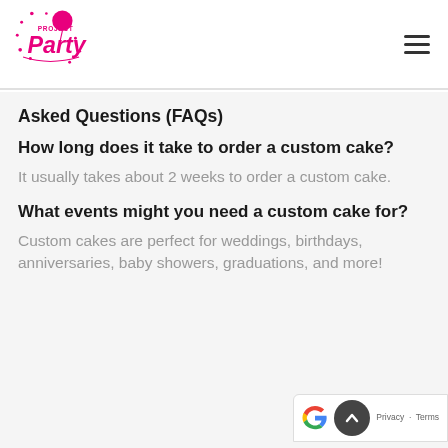Project Party logo and navigation
Asked Questions (FAQs)
How long does it take to order a custom cake?
It usually takes about 2 weeks to order a custom cake.
What events might you need a custom cake for?
Custom cakes are perfect for weddings, birthdays, anniversaries, baby showers, graduations, and more!